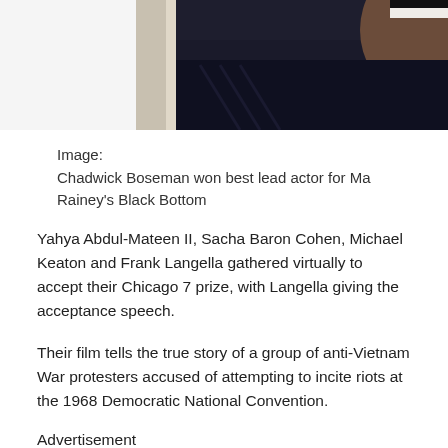[Figure (photo): Partial photo of Chadwick Boseman smiling, wearing a dark textured jacket, cropped at the top]
Image:
Chadwick Boseman won best lead actor for Ma Rainey's Black Bottom
Yahya Abdul-Mateen II, Sacha Baron Cohen, Michael Keaton and Frank Langella gathered virtually to accept their Chicago 7 prize, with Langella giving the acceptance speech.
Their film tells the true story of a group of anti-Vietnam War protesters accused of attempting to incite riots at the 1968 Democratic National Convention.
Advertisement